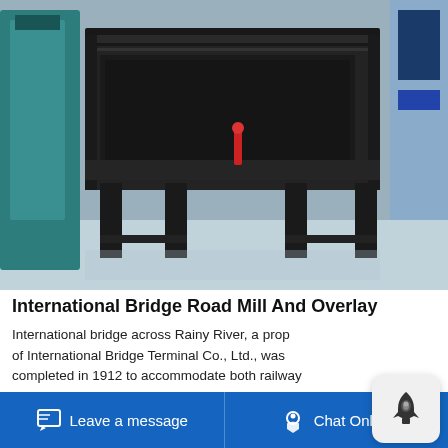[Figure (photo): Industrial milling machine, dark grey/black metal frame with legs, on a factory floor. A teal-colored machine is visible on the left side. A blue panel is on the right. Red element visible on center machine.]
International Bridge Road Mill And Overlay
International bridge across Rainy River, a property of International Bridge Terminal Co., Ltd., was completed in 1912 to accommodate both railway and vehicular traffic. Canada Activities in Canada during the 1920s included construction of the Kenora pulp and newsprint mill, a facility that was expanded 2 years later. Addendum 1, International Bridge Mill Overlay April 15 2021 Page 2 2t off
Leave a message   Chat Online